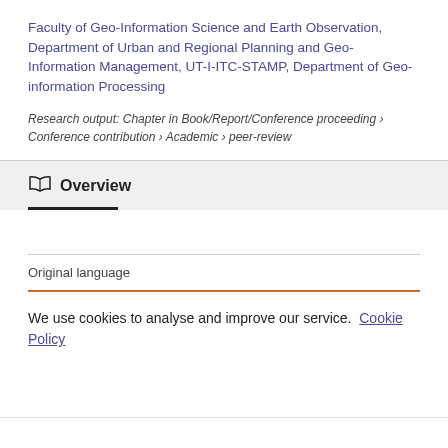Faculty of Geo-Information Science and Earth Observation, Department of Urban and Regional Planning and Geo-Information Management, UT-I-ITC-STAMP, Department of Geo-information Processing
Research output: Chapter in Book/Report/Conference proceeding › Conference contribution › Academic › peer-review
Overview
Original language
We use cookies to analyse and improve our service. Cookie Policy